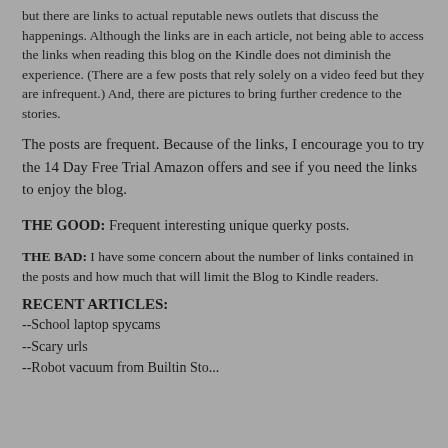but there are links to actual reputable news outlets that discuss the happenings. Although the links are in each article, not being able to access the links when reading this blog on the Kindle does not diminish the experience. (There are a few posts that rely solely on a video feed but they are infrequent.) And, there are pictures to bring further credence to the stories.
The posts are frequent. Because of the links, I encourage you to try the 14 Day Free Trial Amazon offers and see if you need the links to enjoy the blog.
THE GOOD: Frequent interesting unique querky posts.
THE BAD: I have some concern about the number of links contained in the posts and how much that will limit the Blog to Kindle readers.
RECENT ARTICLES:
--School laptop spycams
--Scary urls
--Robot vacuum fromBuiltin Sto...